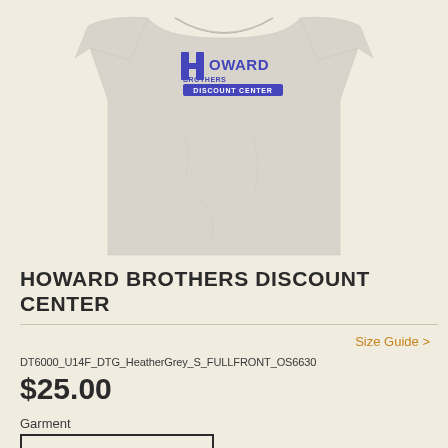[Figure (photo): A light grey heather unisex t-shirt displayed flat, showing the front with a blue and purple Howard Brothers Discount Center logo printed on the chest area. The shirt is on a cream/off-white background.]
HOWARD BROTHERS DISCOUNT CENTER
Size Guide >
DT6000_U14F_DTG_HeatherGrey_S_FULLFRONT_OS6630
$25.00
Garment
UNISEX T-SHIRT